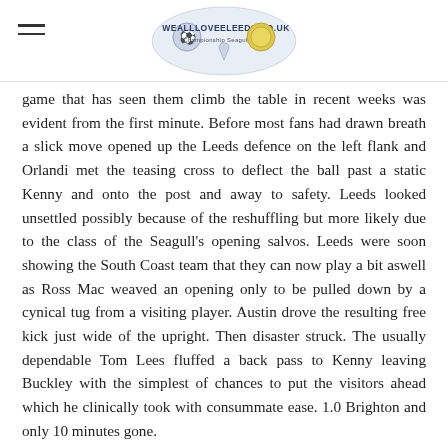WEALLLOVEELEEDS.CO.UK
game that has seen them climb the table in recent weeks was evident from the first minute. Before most fans had drawn breath a slick move opened up the Leeds defence on the left flank and Orlandi met the teasing cross to deflect the ball past a static Kenny and onto the post and away to safety. Leeds looked unsettled possibly because of the reshuffling but more likely due to the class of the Seagull's opening salvos. Leeds were soon showing the South Coast team that they can now play a bit aswell as Ross Mac weaved an opening only to be pulled down by a cynical tug from a visiting player. Austin drove the resulting free kick just wide of the upright. Then disaster struck. The usually dependable Tom Lees fluffed a back pass to Kenny leaving Buckley with the simplest of chances to put the visitors ahead which he clinically took with consummate ease. 1.0 Brighton and only 10 minutes gone.